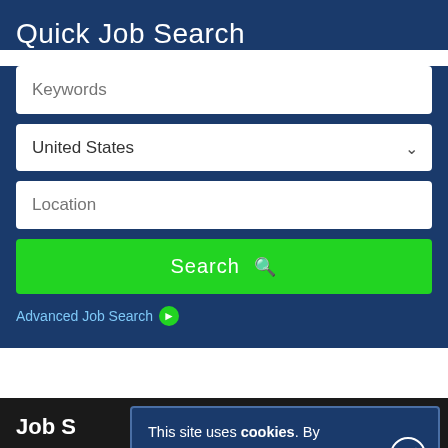Quick Job Search
Keywords
United States
Location
Search
Advanced Job Search
Job S
Browse Sectors
This site uses cookies. By continuing to use this site you consent to our use of cookies.